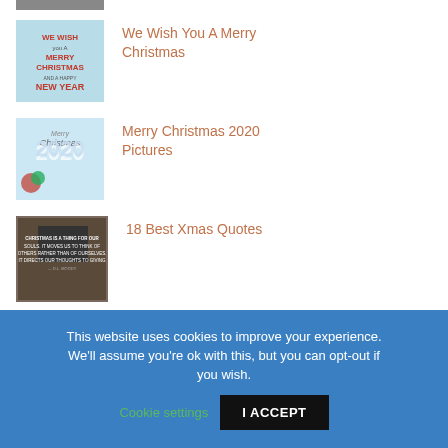[Figure (photo): Partial thumbnail image at very top, partially cropped]
We Wish You A Merry Christmas
Merry Christmas 2020 Pictures
18 Best Xmas Quotes
By : Florence
This website uses cookies to improve your experience. We'll assume you're ok with this, but you can opt-out if you wish.
Cookie settings
I ACCEPT